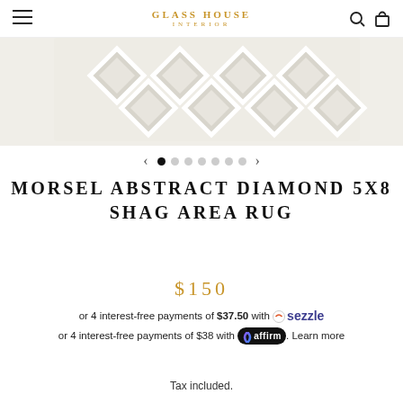GLASS HOUSE INTERIOR
[Figure (photo): Close-up of a white and grey shag area rug with diamond/geometric pattern]
[Figure (other): Image carousel navigation: left arrow, 7 dots (first filled/active), right arrow]
MORSEL ABSTRACT DIAMOND 5X8 SHAG AREA RUG
$150
or 4 interest-free payments of $37.50 with Sezzle or 4 interest-free payments of $38 with affirm. Learn more
Tax included.